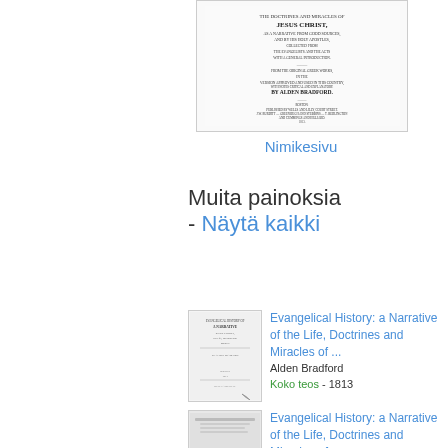[Figure (illustration): Thumbnail image of a book title page - Evangelical History, old printed text in small font]
Nimikesivu
Muita painoksia - Näytä kaikki
[Figure (illustration): Thumbnail of old book title page for Evangelical History: a Narrative of the Life, Doctrines and Miracles of ... by Alden Bradford, 1813]
Evangelical History: a Narrative of the Life, Doctrines and Miracles of ...
Alden Bradford
Koko teos - 1813
[Figure (illustration): Thumbnail of modern book cover with colored bars for Evangelical History: a Narrative of the Life, Doctrines and Miracles of ...]
Evangelical History: a Narrative of the Life, Doctrines and Miracles of ...